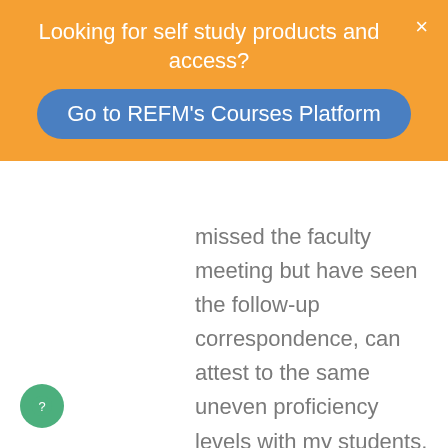Looking for self study products and access?
Go to REFM's Courses Platform
missed the faculty meeting but have seen the follow-up correspondence, can attest to the same uneven proficiency levels with my students, and endorse the need for expanded capabilities. When I got my Real Estate degree from Harvard back in